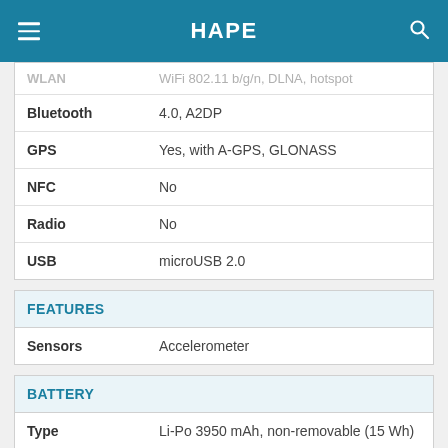HAPE
| Feature | Value |
| --- | --- |
| WLAN | WiFi 802.11 b/g/n, DLNA, hotspot |
| Bluetooth | 4.0, A2DP |
| GPS | Yes, with A-GPS, GLONASS |
| NFC | No |
| Radio | No |
| USB | microUSB 2.0 |
FEATURES
| Feature | Value |
| --- | --- |
| Sensors | Accelerometer |
BATTERY
| Feature | Value |
| --- | --- |
| Type | Li-Po 3950 mAh, non-removable (15 Wh) |
| Talk time | Up to 11 h 30 min (multimedia) (2G) / Up to 34 h (3G) |